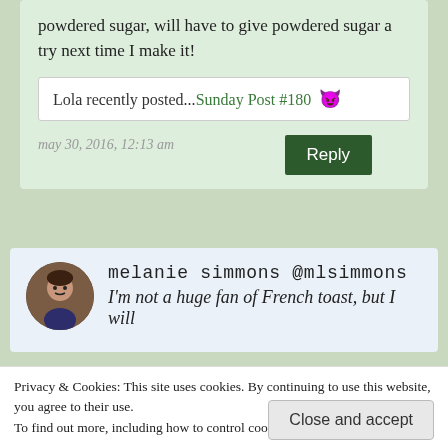powdered sugar, will have to give powdered sugar a try next time I make it!
Lola recently posted...Sunday Post #180
may 30, 2016, 12:13 am
melanie simmons @mlsimmons
I'm not a huge fan of French toast, but I will
Privacy & Cookies: This site uses cookies. By continuing to use this website, you agree to their use.
To find out more, including how to control cookies, see here: Privacy Policy